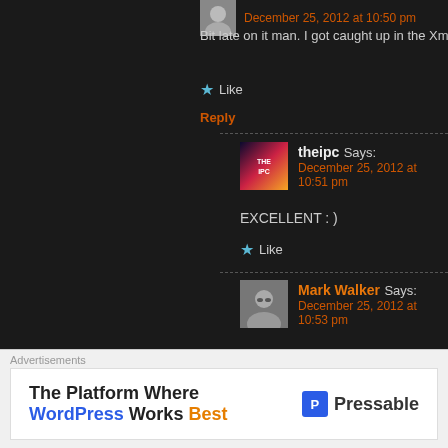December 25, 2012 at 10:50 pm
Bit late on it man. I got caught up in the Xmas alco
Like
Reply
theipc Says: December 25, 2012 at 10:51 pm
EXCELLENT : )
Like
Mark Walker Says: December 25, 2012 at 10:53 pm
Still a bit tipsy just now. Haha! But that' it fuckin' dry when it comes to drinkin' n
Like
theipc Says:
Advertisements
The Platform Where WordPress Works Best
Pressable